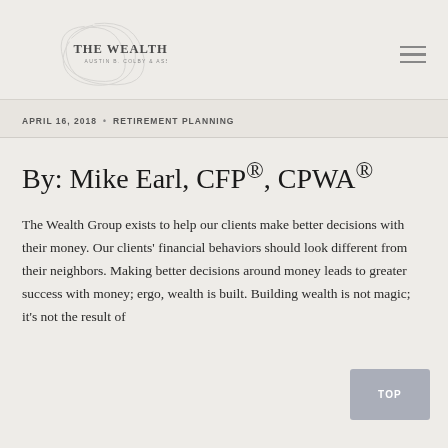The Wealth Group — Austin B. Colby & Associates (logo)
APRIL 16, 2018 • RETIREMENT PLANNING
By: Mike Earl, CFP®, CPWA®
The Wealth Group exists to help our clients make better decisions with their money. Our clients' financial behaviors should look different from their neighbors. Making better decisions around money leads to greater success with money; ergo, wealth is built. Building wealth is not magic; it's not the result of